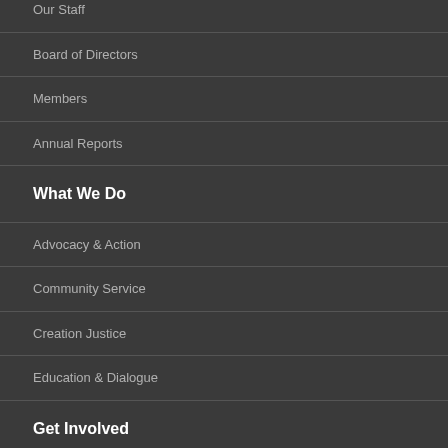Our Staff
Board of Directors
Members
Annual Reports
What We Do
Advocacy & Action
Community Service
Creation Justice
Education & Dialogue
Get Involved
Connect
Give